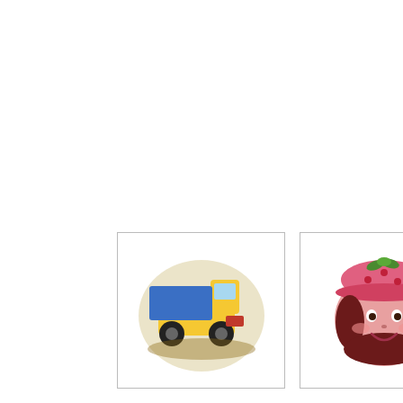Sign up for our free n
Don't worry -- I promise to use i
Our Mo
[Figure (photo): Dump truck shaped cake/novelty item with blue and yellow coloring]
[Figure (photo): Strawberry Shortcake character shaped cake/novelty item, pink with strawberry hat]
[Figure (photo): Partially visible product image on right edge]